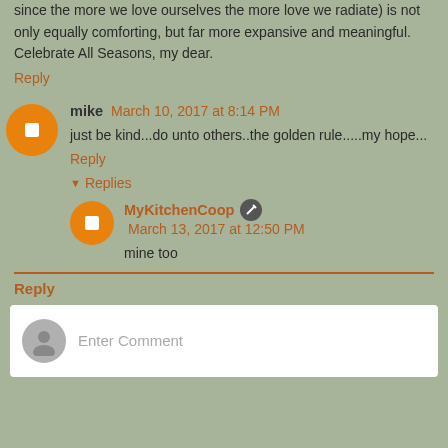since the more we love ourselves the more love we radiate) is not only equally comforting, but far more expansive and meaningful. Celebrate All Seasons, my dear.
Reply
mike  March 10, 2017 at 8:14 PM
just be kind...do unto others..the golden rule.....my hope...
Reply
Replies
MyKitchenCoop  March 13, 2017 at 12:50 PM
mine too
Reply
Enter Comment